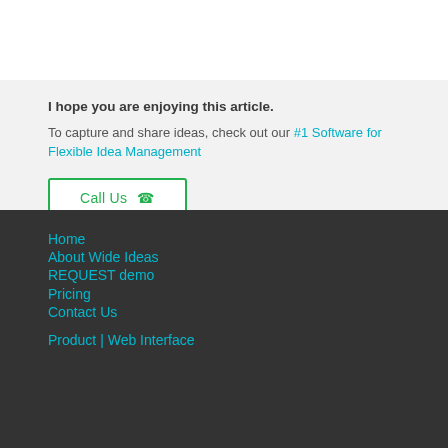I hope you are enjoying this article. To capture and share ideas, check out our #1 Software for Flexible Idea Management
Call Us
Home
About Wide Ideas
REQUEST demo
Pricing
Contact Us
Product | Web Interface